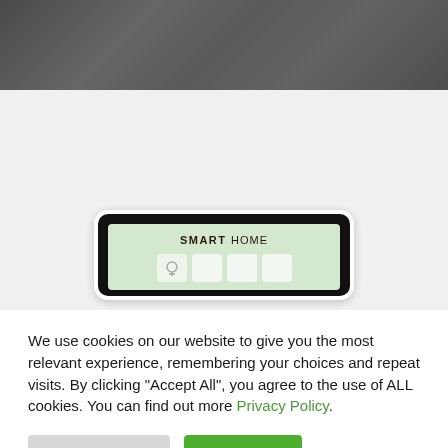[Figure (photo): Dark gray stone/concrete texture background at top of page]
[Figure (photo): Smart home control panel device on white background. The device has a black frame with rounded corners, showing a green-tinted screen labeled 'SMART HOME' in bold with icons below.]
We use cookies on our website to give you the most relevant experience, remembering your choices and repeat visits. By clicking "Accept All", you agree to the use of ALL cookies. You can find out more Privacy Policy.
Cookie Settings
Accept All